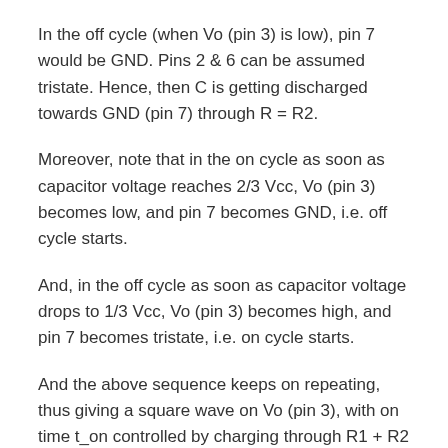In the off cycle (when Vo (pin 3) is low), pin 7 would be GND. Pins 2 & 6 can be assumed tristate. Hence, then C is getting discharged towards GND (pin 7) through R = R2.
Moreover, note that in the on cycle as soon as capacitor voltage reaches 2/3 Vcc, Vo (pin 3) becomes low, and pin 7 becomes GND, i.e. off cycle starts.
And, in the off cycle as soon as capacitor voltage drops to 1/3 Vcc, Vo (pin 3) becomes high, and pin 7 becomes tristate, i.e. on cycle starts.
And the above sequence keeps on repeating, thus giving a square wave on Vo (pin 3), with on time t_on controlled by charging through R1 + R2 and off time t_off controlled by discharging through R2.
From RC circuit analysis, we have that voltage Vc across a capacitor C, getting charged through resistance R, at time t is